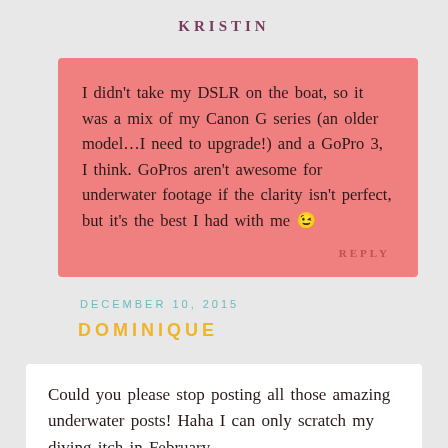KRISTIN
I didn't take my DSLR on the boat, so it was a mix of my Canon G series (an older model…I need to upgrade!) and a GoPro 3, I think. GoPros aren't awesome for underwater footage if the clarity isn't perfect, but it's the best I had with me 😉
REPLY
DECEMBER 10, 2015
DOMINIQUE
Could you please stop posting all those amazing underwater posts! Haha I can only scratch my diving itch in February